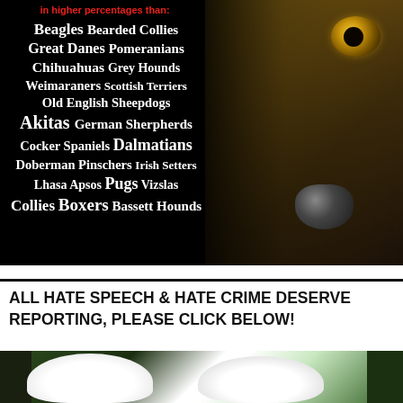[Figure (photo): Black background image with a close-up of a dog's face on the right side, with white text listing many dog breeds. Red text at top reads 'in higher percentages than:'. Dog breeds listed include Beagles, Bearded Collies, Great Danes, Pomeranians, Chihuahuas, Grey Hounds, Weimaraners, Scottish Terriers, Old English Sheepdogs, Akitas, German Sherpherds, Cocker Spaniels, Dalmatians, Doberman Pinschers, Irish Setters, Lhasa Apsos, Pugs, Vizslas, Collies, Boxers, Bassett Hounds.]
ALL HATE SPEECH & HATE CRIME DESERVE REPORTING, PLEASE CLICK BELOW!
[Figure (photo): Photo showing two white dogs outdoors against a background of dark foliage and ground.]